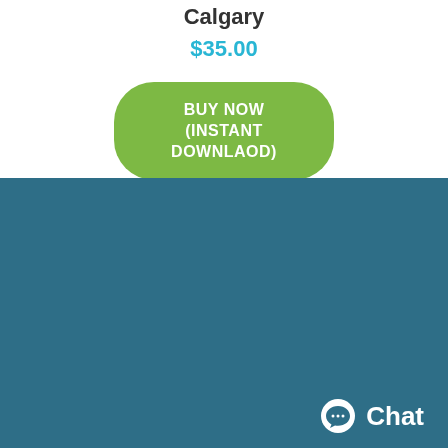Calgary
$35.00
BUY NOW (INSTANT DOWNLAOD)
[Figure (other): Teal/dark blue footer background section]
Chat